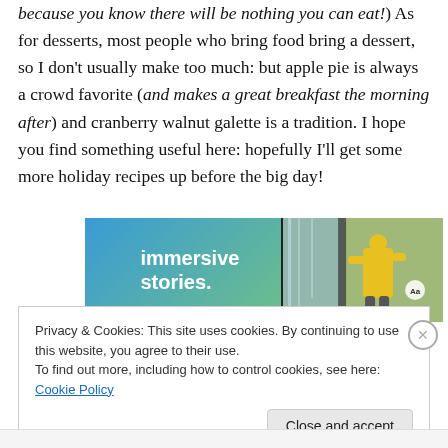because you know there will be nothing you can eat!) As for desserts, most people who bring food bring a dessert, so I don't usually make too much: but apple pie is always a crowd favorite (and makes a great breakfast the morning after) and cranberry walnut galette is a tradition. I hope you find something useful here: hopefully I'll get some more holiday recipes up before the big day!
[Figure (other): Advertisement banner with text 'immersive stories.' on a blue-green gradient background, and a photo of a rock climber in a yellow jacket next to a waterfall.]
Privacy & Cookies: This site uses cookies. By continuing to use this website, you agree to their use.
To find out more, including how to control cookies, see here: Cookie Policy
Close and accept